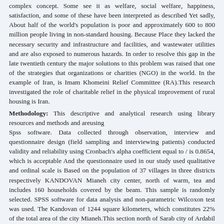complex concept. Some see it as welfare, social welfare, happiness, satisfaction, and some of these have been interpreted as described Yet sadly, About half of the world's population is poor and approximately 600 to 800 million people living in non-standard housing. Because Place they lacked the necessary security and infrastructure and facilities, and wastewater utilities and are also exposed to numerous hazards. In order to resolve this gap in the late twentieth century the major solutions to this problem was raised that one of the strategies that organizations or charities (NGO) in the world. In the example of Iran, is Imam Khomeini Relief Committee (RA).This research investigated the role of charitable relief in the physical improvement of rural housing is Iran.
Methodology: This descriptive and analytical research using library resources and methods and areusing
Spss software. Data collected through observation, interview and questionnaire design (field sampling and interviewing patients) conducted validity and reliability using Cronbach's alpha coefficient equal to / is 0.8654, which is acceptable And the questionnaire used in our study used qualitative and ordinal scale is Based on the population of 37 villages in three districts respectively KANDOVAN Mianeh city center, north of warm, tea and includes 160 households covered by the beam. This sample is randomly selected. SPSS software for data analysis and non-parametric Wilcoxon test was used. The Kandovan of 1244 square kilometers, which constitutes 22% of the total area of the city Mianeh.This section north of Sarab city of Ardabil and East to the South and West of the city center is limited And at 47 to 48 degrees east longitude and geographic latitude 37 to 38 degrees to the left of center is located. Aban 1385 census population of 24,820 persons living in villages consisting of 5,875 families. Of these 920 households, including 46 urban and 874 rural households with a total